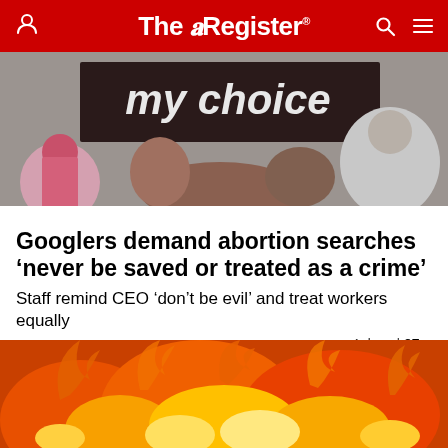The Register
[Figure (photo): Crowd of protesters holding signs reading 'my choice']
Googlers demand abortion searches ‘never be saved or treated as a crime’
Staff remind CEO ‘don’t be evil’ and treat workers equally
PERSONAL TECH   4 days | 97
[Figure (photo): Close-up photograph of fire and flames in orange and yellow tones]